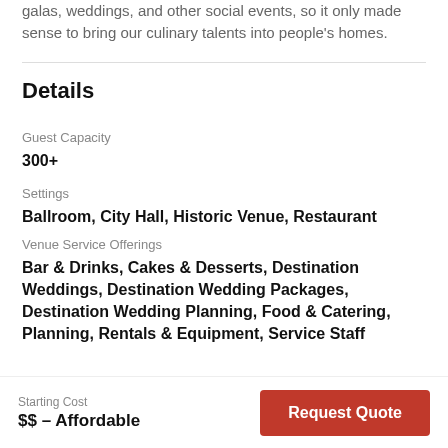galas, weddings, and other social events, so it only made sense to bring our culinary talents into people's homes.
Details
Guest Capacity
300+
Settings
Ballroom, City Hall, Historic Venue, Restaurant
Venue Service Offerings
Bar & Drinks, Cakes & Desserts, Destination Weddings, Destination Wedding Packages, Destination Wedding Planning, Food & Catering, Planning, Rentals & Equipment, Service Staff
Starting Cost
$$ – Affordable